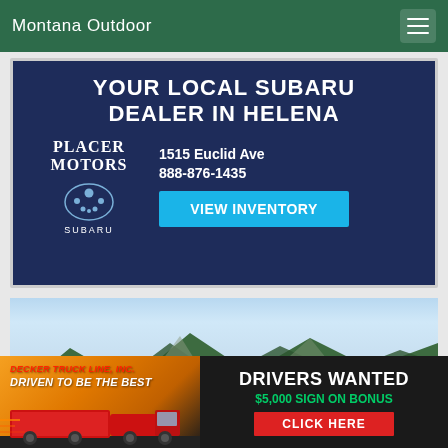Montana Outdoor
[Figure (illustration): Placer Motors Subaru dealership advertisement with dark navy background. Top text: YOUR LOCAL SUBARU DEALER IN HELENA. Left side: PLACER MOTORS logo with Subaru star emblem and SUBARU text. Right side: 1515 Euclid Ave, 888-876-1435, VIEW INVENTORY button in cyan.]
[Figure (photo): Mountain landscape photograph with rocky mountains, green forests, and partly cloudy sky.]
[Figure (illustration): Decker Truck Line, Inc. advertisement. Left side shows orange/sunset background with red semi truck and text: DECKER TRUCK LINE, INC. DRIVEN TO BE THE BEST. Right side dark background with: DRIVERS WANTED, $5,000 SIGN ON BONUS, CLICK HERE button in red.]